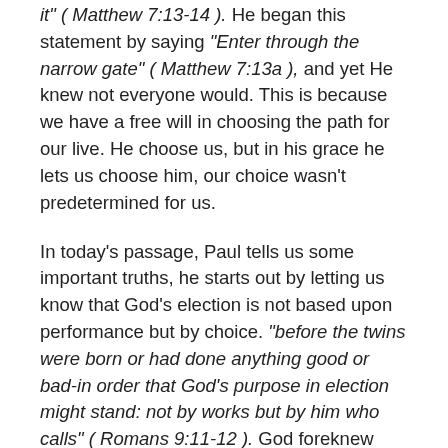it" ( Matthew 7:13-14 ). He began this statement by saying "Enter through the narrow gate" ( Matthew 7:13a ), and yet He knew not everyone would. This is because we have a free will in choosing the path for our live. He choose us, but in his grace he lets us choose him, our choice wasn't predetermined for us.
In today's passage, Paul tells us some important truths, he starts out by letting us know that God's election is not based upon performance but by choice. "before the twins were born or had done anything good or bad-in order that God's purpose in election might stand: not by works but by him who calls" ( Romans 9:11-12 ). God foreknew both Jacob and Esau before they were born. He knew the choices they would make and he chose Jacob based on that knowledge. Jacob was called to be the inheritor of the blessing of the firstborn son although